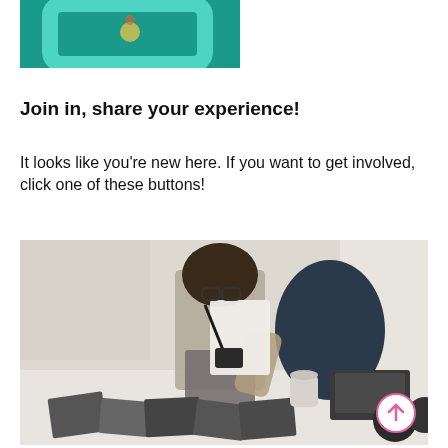[Figure (logo): Teal/green square logo with a stylized letter G or camera icon in lighter teal, partially cropped at top]
Join in, share your experience!
It looks like you’re new here. If you want to get involved, click one of these buttons!
[Figure (photo): Woman with glasses and a camera around her neck leaning over a white desk looking at photographs, with a laptop and coffee mug in the background; bright office setting. A pink circle arrow-up scroll button is visible in the bottom-right corner.]